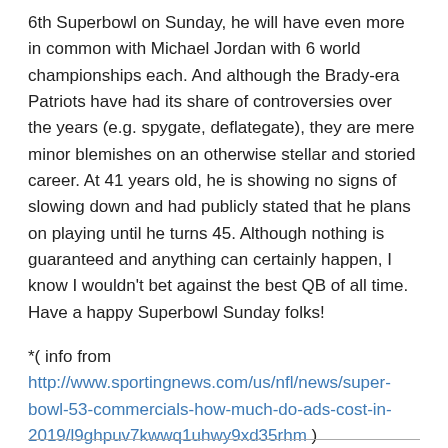6th Superbowl on Sunday, he will have even more in common with Michael Jordan with 6 world championships each. And although the Brady-era Patriots have had its share of controversies over the years (e.g. spygate, deflategate), they are mere minor blemishes on an otherwise stellar and storied career. At 41 years old, he is showing no signs of slowing down and had publicly stated that he plans on playing until he turns 45. Although nothing is guaranteed and anything can certainly happen, I know I wouldn't bet against the best QB of all time. Have a happy Superbowl Sunday folks!
*( info from http://www.sportingnews.com/us/nfl/news/super-bowl-53-commercials-how-much-do-ads-cost-in-2019/l9ghpuv7kwwq1uhwy9xd35rhm )
Posted in celebrities, Current Events, inspirational, sports, uncategorized